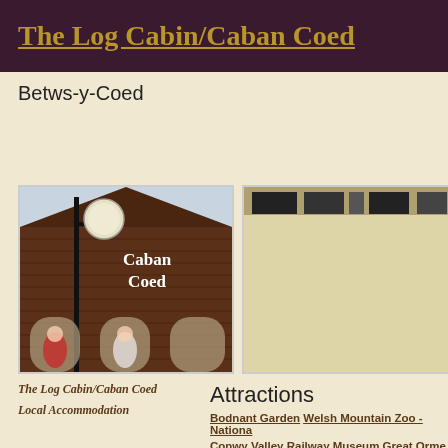The Log Cabin/Caban Coed
Betws-y-Coed
[Figure (photo): Photo of the Caban Coed log cabin building exterior with a globe street lamp and brown horizontal siding. White text reads 'Caban Coed' on the facade.]
[Figure (photo): Partially visible second photo showing a sepia-toned or beige image, partially cut off.]
Attractions
The Log Cabin/Caban Coed
Local Accommodation
Bodnant Garden Welsh Mountain Zoo - Nationa...
Conwy Valley Railway Museum  Great Orme Tra...